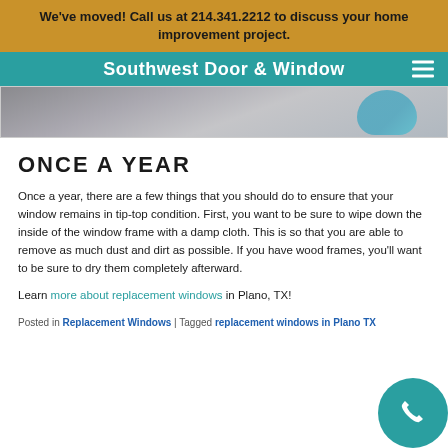We've moved! Call us at 214.341.2212 to discuss your home improvement project.
Southwest Door & Window
[Figure (photo): Partial image of a person wearing blue gloves, visible at the bottom of a cropped photo strip]
ONCE A YEAR
Once a year, there are a few things that you should do to ensure that your window remains in tip-top condition. First, you want to be sure to wipe down the inside of the window frame with a damp cloth. This is so that you are able to remove as much dust and dirt as possible. If you have wood frames, you'll want to be sure to dry them completely afterward.
Learn more about replacement windows in Plano, TX!
Posted in Replacement Windows | Tagged replacement windows in Plano TX